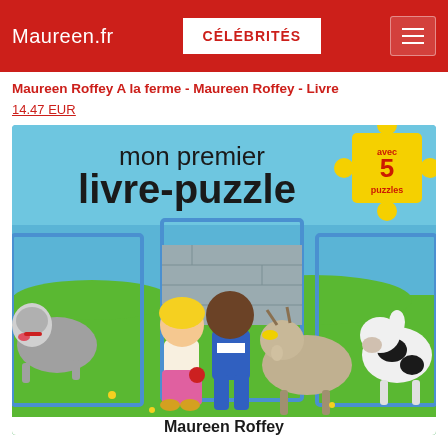Maureen.fr | CÉLÉBRITÉS
Maureen Roffey A la ferme - Maureen Roffey - Livre
14.47 EUR
[Figure (photo): Book cover of 'mon premier livre-puzzle' by Maureen Roffey, showing children and farm animals (dog, goat, cow) with puzzle piece cutouts, 'avec 5 puzzles' badge in top right corner.]